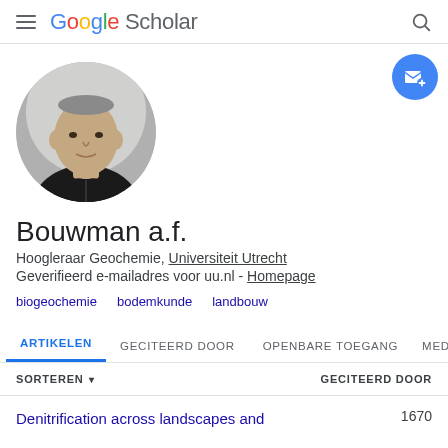Google Scholar
[Figure (photo): Circular profile photo of Bouwman a.f., a middle-aged man with short hair wearing a dark jacket]
Bouwman a.f.
Hoogleraar Geochemie, Universiteit Utrecht
Geverifieerd e-mailadres voor uu.nl - Homepage
biogeochemie
bodemkunde
landbouw
ARTIKELEN  GECITEERD DOOR  OPENBARE TOEGANG  MED
SORTEREN ▾  GECITEERD DOOR
Denitrification across landscapes and  1670